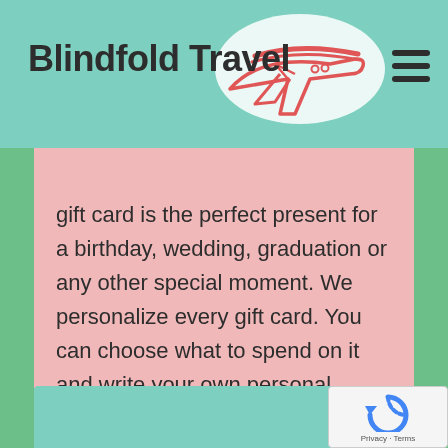Blindfold Travel
[Figure (illustration): Airplane with blindfold/cloud logo illustration in red outline style]
gift card is the perfect present for a birthday, wedding, graduation or any other special moment. We personalize every gift card. You can choose what to spend on it and write your own personal message.
[Figure (illustration): Bottom teal section with phone/mobile icon]
[Figure (other): Google reCAPTCHA badge with Privacy and Terms links]